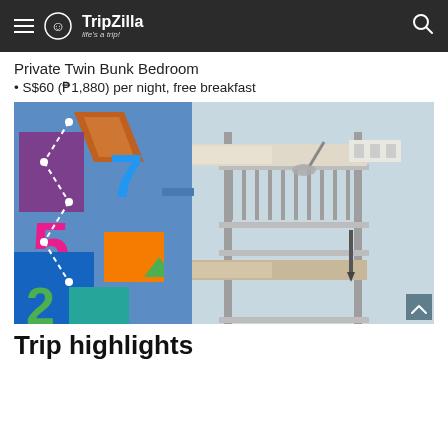TripZilla - life's a trip!
Private Twin Bunk Bedroom
S$60 (₱1,880) per night, free breakfast
[Figure (photo): Interior photo of a private twin bunk bedroom showing metal bunk beds with white bedding/pillows, a blue wall with colorful number mural on the left side featuring numbers 2, 5, 7 in bright colors, and a reading lamp and power outlet on the right wall.]
Trip highlights